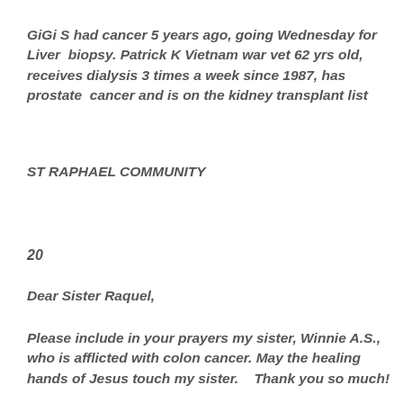GiGi S had cancer 5 years ago, going Wednesday for Liver  biopsy. Patrick K Vietnam war vet 62 yrs old, receives dialysis 3 times a week since 1987, has prostate  cancer and is on the kidney transplant list
ST RAPHAEL COMMUNITY
20
Dear Sister Raquel,
Please include in your prayers my sister, Winnie A.S., who is afflicted with colon cancer. May the healing hands of Jesus touch my sister.   Thank you so much!